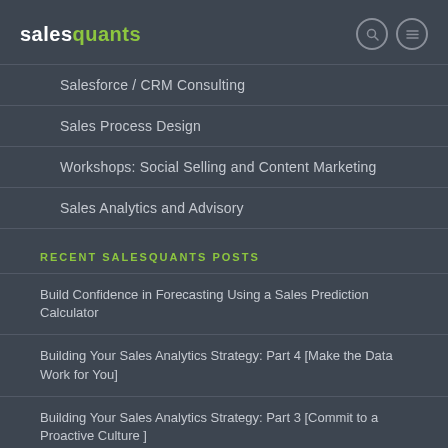salesquants
Salesforce / CRM Consulting
Sales Process Design
Workshops: Social Selling and Content Marketing
Sales Analytics and Advisory
RECENT SALESQUANTS POSTS
Build Confidence in Forecasting Using a Sales Prediction Calculator
Building Your Sales Analytics Strategy: Part 4 [Make the Data Work for You]
Building Your Sales Analytics Strategy: Part 3 [Commit to a Proactive Culture ]